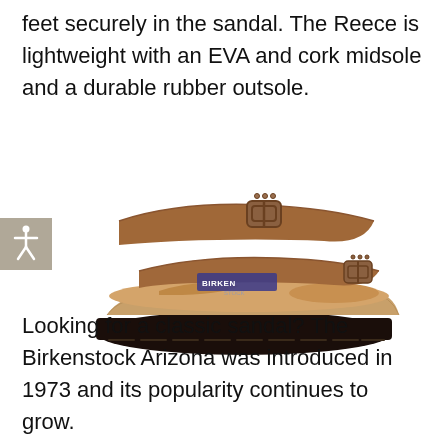feet securely in the sandal. The Reece is lightweight with an EVA and cork midsole and a durable rubber outsole.
[Figure (photo): A Birkenstock Arizona sandal in tan/tobacco oiled leather with two adjustable buckle straps, cork midsole, and dark rubber outsole, photographed on a white background.]
Looking for a classic sandal? The Birkenstock Arizona was introduced in 1973 and its popularity continues to grow.